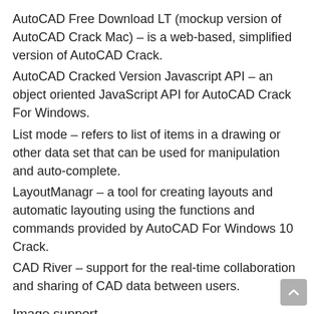AutoCAD Free Download LT (mockup version of AutoCAD Crack Mac) – is a web-based, simplified version of AutoCAD Crack.
AutoCAD Cracked Version Javascript API – an object oriented JavaScript API for AutoCAD Crack For Windows.
List mode – refers to list of items in a drawing or other data set that can be used for manipulation and auto-complete.
LayoutManagr – a tool for creating layouts and automatic layouting using the functions and commands provided by AutoCAD For Windows 10 Crack.
CAD River – support for the real-time collaboration and sharing of CAD data between users.
Image support
AutoCAD For Windows 10 Crack supports image formats,